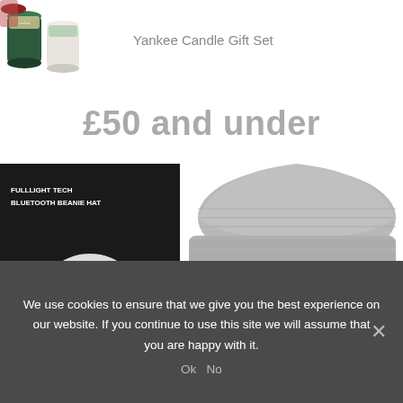[Figure (photo): Yankee Candle Gift Set product photo showing multiple candle jars]
Yankee Candle Gift Set
£50 and under
[Figure (photo): Bluetooth Beanie Hat product photo - grey knitted beanie hat with built-in bluetooth, shown with product box labeled FULLLIGHT TECH BLUETOOTH BEANIE HAT]
We use cookies to ensure that we give you the best experience on our website. If you continue to use this site we will assume that you are happy with it.
Ok   No